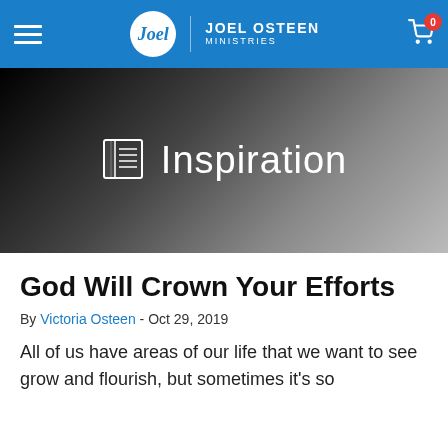Joel Osteen Ministries
[Figure (screenshot): Hero banner with dark gradient background and 'Inspiration' label with an icon]
God Will Crown Your Efforts
By Victoria Osteen - Oct 29, 2019
All of us have areas of our life that we want to see grow and flourish, but sometimes it's so